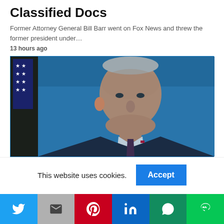Classified Docs
Former Attorney General Bill Barr went on Fox News and threw the former president under…
13 hours ago
[Figure (photo): Photo of an older man in a dark suit with a striped tie, in front of a blue background with a US flag to the left]
This website uses cookies.
[Figure (infographic): Social share bar with Twitter, Gmail, Pinterest, LinkedIn, WhatsApp, and LINE buttons]